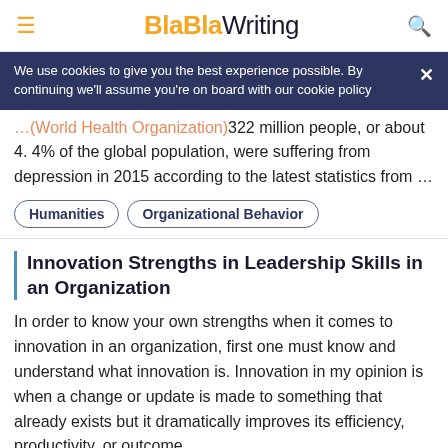BlaBlaWriting
We use cookies to give you the best experience possible. By continuing we'll assume you're on board with our cookie policy
Organization)322 million people, or about 4. 4% of the global population, were suffering from depression in 2015 according to the latest statistics from …
Humanities
Organizational Behavior
Innovation Strengths in Leadership Skills in an Organization
In order to know your own strengths when it comes to innovation in an organization, first one must know and understand what innovation is. Innovation in my opinion is when a change or update is made to something that already exists but it dramatically improves its efficiency, productivity, or outcome. …
Leadership
Organizational Behavior
Skills
Strengths